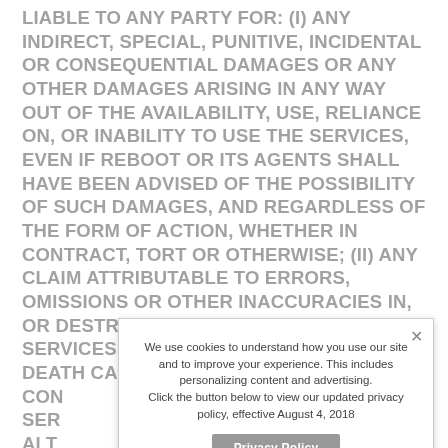LIABLE TO ANY PARTY FOR: (i) ANY INDIRECT, SPECIAL, PUNITIVE, INCIDENTAL OR CONSEQUENTIAL DAMAGES OR ANY OTHER DAMAGES ARISING IN ANY WAY OUT OF THE AVAILABILITY, USE, RELIANCE ON, OR INABILITY TO USE THE SERVICES, EVEN IF REBOOT OR ITS AGENTS SHALL HAVE BEEN ADVISED OF THE POSSIBILITY OF SUCH DAMAGES, AND REGARDLESS OF THE FORM OF ACTION, WHETHER IN CONTRACT, TORT OR OTHERWISE; (ii) ANY CLAIM ATTRIBUTABLE TO ERRORS, OMISSIONS OR OTHER INACCURACIES IN, OR DESTRUCTIVE PROPERTIES OF, THE SERVICES; (iii) PERSONAL INJURY OR DEATH CAUSED BY YOUR USE OR [obscured] CON[obscured] SER[obscured] ALT[obscured] INF[obscured] AS S[obscured]
We use cookies to understand how you use our site and to improve your experience. This includes personalizing content and advertising. Click the button below to view our updated privacy policy, effective August 4, 2018
Privacy Policy